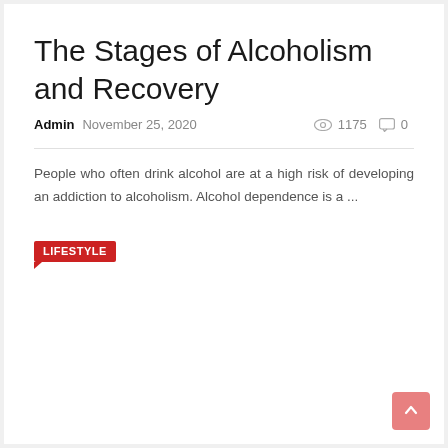The Stages of Alcoholism and Recovery
Admin   November 25, 2020   👁 1175   💬 0
People who often drink alcohol are at a high risk of developing an addiction to alcoholism. Alcohol dependence is a ...
LIFESTYLE